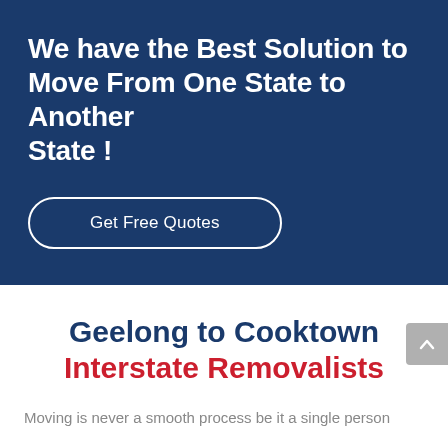We have the Best Solution to Move From One State to Another State !
Get Free Quotes
Geelong to Cooktown Interstate Removalists
Moving is never a smooth process be it a single person